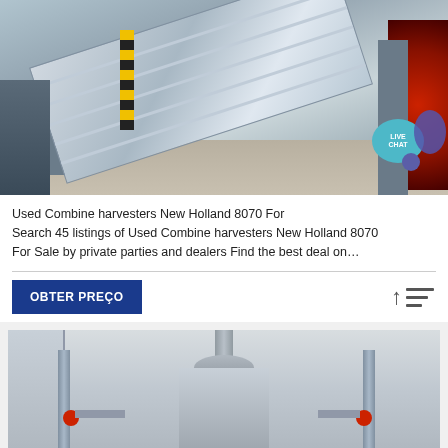[Figure (photo): Industrial conveyor machine (combine harvester related equipment) in a warehouse/factory setting. A long diagonal conveyor belt with ridged metal surface, grey frame supports, yellow/black warning pole, red circular element on right side. Live chat bubble overlay in teal/purple in top-right area of image.]
Used Combine harvesters New Holland 8070 For Search 45 listings of Used Combine harvesters New Holland 8070 For Sale by private parties and dealers Find the best deal on…
OBTER PREÇO
[Figure (photo): Industrial equipment photo showing a large metal mixing tank or vessel with cylindrical body, a vertical pipe/column on top, flanked by two vertical pipes on left and right with red valves/flanges at the bottom. Grey industrial background.]